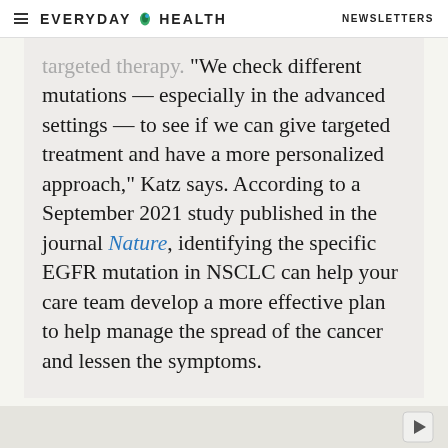EVERYDAY HEALTH  NEWSLETTERS
targeted therapy. “We check different mutations — especially in the advanced settings — to see if we can give targeted treatment and have a more personalized approach,” Katz says. According to a September 2021 study published in the journal Nature, identifying the specific EGFR mutation in NSCLC can help your care team develop a more effective plan to help manage the spread of the cancer and lessen the symptoms.